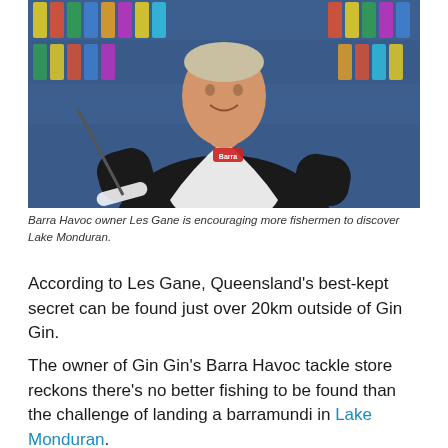[Figure (photo): Photo of Barra Havoc owner Les Gane standing in a fishing tackle store, wearing a black and white fishing jersey, holding a fishing rod, with shelves of fishing lures behind him.]
Barra Havoc owner Les Gane is encouraging more fishermen to discover Lake Monduran.
According to Les Gane, Queensland's best-kept secret can be found just over 20km outside of Gin Gin.
The owner of Gin Gin's Barra Havoc tackle store reckons there's no better fishing to be found than the challenge of landing a barramundi in Lake Monduran.